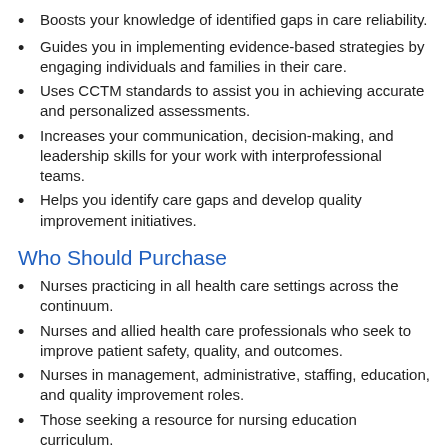Boosts your knowledge of identified gaps in care reliability.
Guides you in implementing evidence-based strategies by engaging individuals and families in their care.
Uses CCTM standards to assist you in achieving accurate and personalized assessments.
Increases your communication, decision-making, and leadership skills for your work with interprofessional teams.
Helps you identify care gaps and develop quality improvement initiatives.
Who Should Purchase
Nurses practicing in all health care settings across the continuum.
Nurses and allied health care professionals who seek to improve patient safety, quality, and outcomes.
Nurses in management, administrative, staffing, education, and quality improvement roles.
Those seeking a resource for nursing education curriculum.
What's Inside
The most urgent and relevant information you need for your practice, organized in 13 chapters that span the CCTM role.
Chapter topics include advocacy, patient education, care…